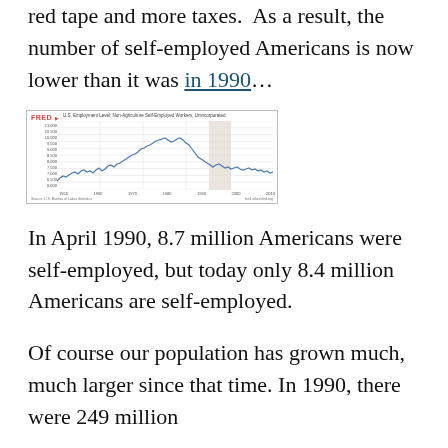red tape and more taxes. As a result, the number of self-employed Americans is now lower than it was in 1990…
[Figure (continuous-plot): FRED line chart showing U.S. employment level: non-agriculture self-employed workers over time, from approximately 1948 to 2014. The line rises from the left, peaks around 2000, then declines. A shaded region indicates a recession period.]
In April 1990, 8.7 million Americans were self-employed, but today only 8.4 million Americans are self-employed.
Of course our population has grown much, much larger since that time. In 1990, there were 249 million